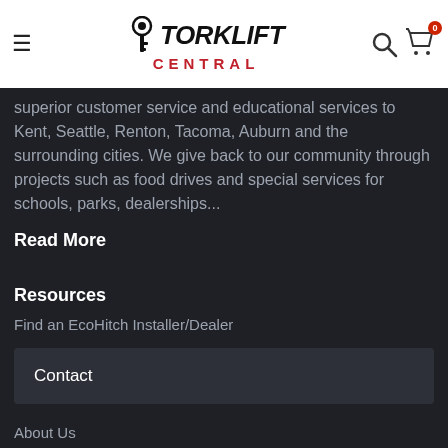Torklift Central
superior customer service and educational services to Kent, Seattle, Renton, Tacoma, Auburn and the surrounding cities. We give back to our community through projects such as food drives and special services for schools, parks, dealerships...
Read More
Resources
Find an EcoHitch Installer/Dealer
Contact
About Us